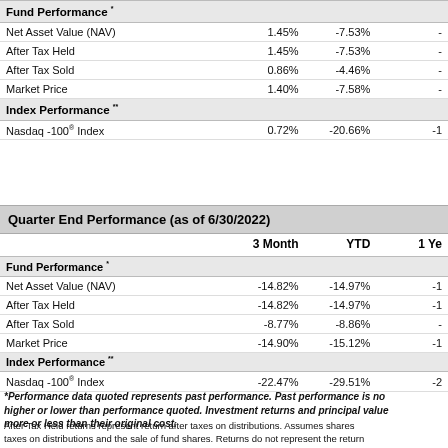|  | 3 Month | YTD | 1 Ye... |
| --- | --- | --- | --- |
| Fund Performance * |  |  |  |
| Net Asset Value (NAV) | 1.45% | -7.53% | - |
| After Tax Held | 1.45% | -7.53% | - |
| After Tax Sold | 0.86% | -4.46% | - |
| Market Price | 1.40% | -7.58% | - |
| Index Performance ** |  |  |  |
| Nasdaq -100® Index | 0.72% | -20.66% | -1 |
Quarter End Performance (as of 6/30/2022)
|  | 3 Month | YTD | 1 Ye... |
| --- | --- | --- | --- |
| Fund Performance * |  |  |  |
| Net Asset Value (NAV) | -14.82% | -14.97% | -1 |
| After Tax Held | -14.82% | -14.97% | -1 |
| After Tax Sold | -8.77% | -8.86% | - |
| Market Price | -14.90% | -15.12% | -1 |
| Index Performance ** |  |  |  |
| Nasdaq -100® Index | -22.47% | -29.51% | -2 |
*Performance data quoted represents past performance. Past performance is no... higher or lower than performance quoted. Investment returns and principal value... more or less than their original cost.
After Tax Held returns represent return after taxes on distributions. Assumes shares taxes on distributions and the sale of fund shares. Returns do not represent the return returns are determined by using the midpoint of the national best bid offer price ("N average annualized total returns, except those for periods of less than one year, which a